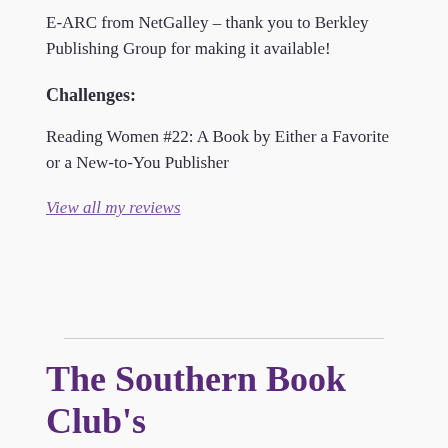E-ARC from NetGalley – thank you to Berkley Publishing Group for making it available!
Challenges:
Reading Women #22: A Book by Either a Favorite or a New-to-You Publisher
View all my reviews
The Southern Book Club's Guide to Slaying Vampires